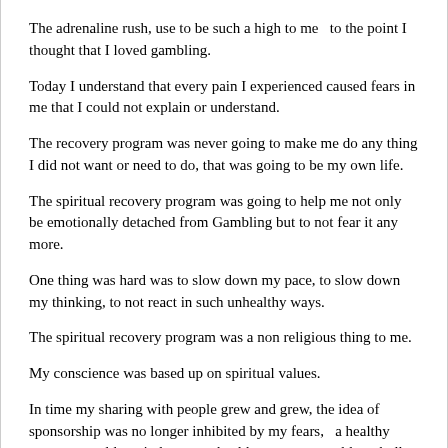The adrenaline rush, use to be such a high to me  to the point I thought that I loved gambling.
Today I understand that every pain I experienced caused fears in me that I could not explain or understand.
The recovery program was never going to make me do any thing I did not want or need to do, that was going to be my own life.
The spiritual recovery program was going to help me not only be emotionally detached from Gambling but to not fear it any more.
One thing was hard was to slow down my pace, to slow down my thinking, to not react in such unhealthy ways.
The spiritual recovery program was a non religious thing to me.
My conscience was based up on spiritual values.
In time my sharing with people grew and grew, the idea of sponsorship was no longer inhibited by my fears,  a healthy sponsor would not judge me, a healthy sponsor would not bully or manipulate me, a healthy sponsor would help me over come my fears of emotional intimacy.
I have been going to meeting for over 50 years, I have gambling free continued for 20 years, people ask why go to meetings, if you have not gambled in years.